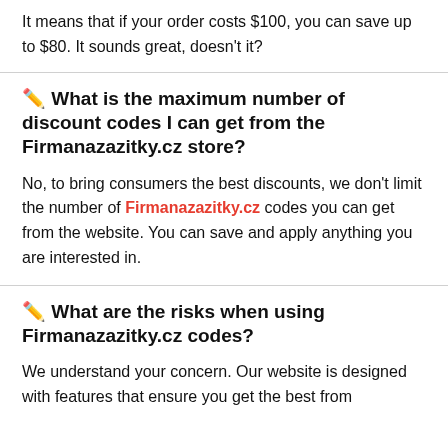It means that if your order costs $100, you can save up to $80. It sounds great, doesn't it?
🖊️ What is the maximum number of discount codes I can get from the Firmanazazitky.cz store?
No, to bring consumers the best discounts, we don't limit the number of Firmanazazitky.cz codes you can get from the website. You can save and apply anything you are interested in.
🖊️ What are the risks when using Firmanazazitky.cz codes?
We understand your concern. Our website is designed with features that ensure you get the best from